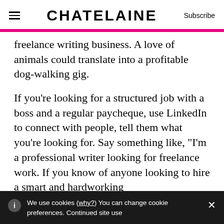CHATELAINE | Subscribe
freelance writing business. A love of animals could translate into a profitable dog-walking gig.
If you’re looking for a structured job with a boss and a regular paycheque, use LinkedIn to connect with people, tell them what you’re looking for. Say something like, “I’m a professional writer looking for freelance work. If you know of anyone looking to hire a smart and hardworking
We use cookies (why?) You can change cookie preferences. Continued site use